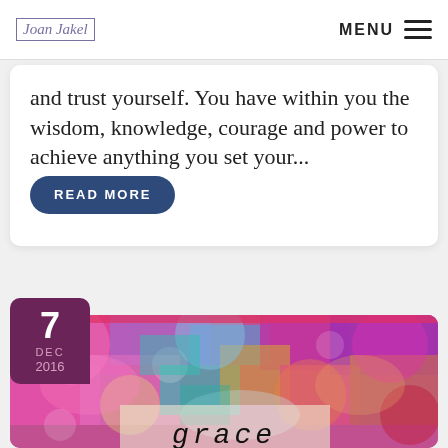Joan Jakel | MENU
and trust yourself. You have within you the wisdom, knowledge, courage and power to achieve anything you set your... READ MORE
[Figure (illustration): Colorful abstract mixed-media artwork with splashes of pink, purple, teal, yellow, red colors, with the word 'grace' visible at the bottom in black typewriter font, date badge showing 7 DEC 2016 in dark purple.]